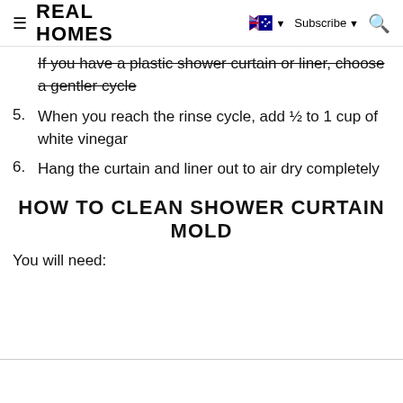REAL HOMES
If you have a plastic shower curtain or liner, choose a gentler cycle
5. When you reach the rinse cycle, add ½ to 1 cup of white vinegar
6. Hang the curtain and liner out to air dry completely
HOW TO CLEAN SHOWER CURTAIN MOLD
You will need: